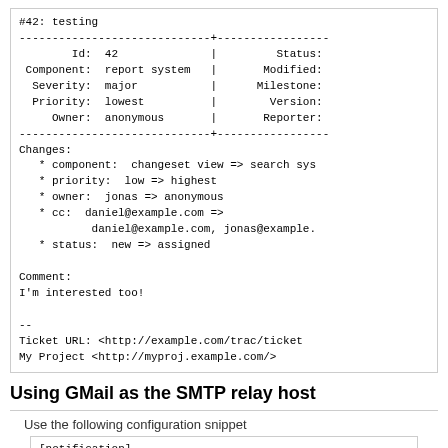#42: testing
-----------------------------+----------------
        Id:  42           |       Status:
 Component:  report system |     Modified:
  Severity:  major        |    Milestone:
  Priority:  lowest       |      Version:
     Owner:  anonymous    |     Reporter:
-----------------------------+----------------
Changes:
   * component:  changeset view => search sys
   * priority:  low => highest
   * owner:  jonas => anonymous
   * cc:  daniel@example.com =>
           daniel@example.com, jonas@example.
   * status:  new => assigned

Comment:
I'm interested too!

--
Ticket URL: <http://example.com/trac/ticket
My Project <http://myproj.example.com/>
Using GMail as the SMTP relay host
Use the following configuration snippet
[notification]
smtp_enabled = true